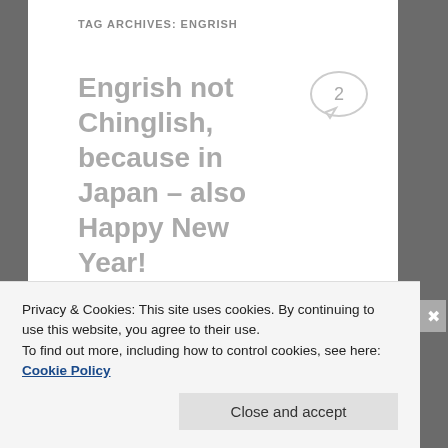TAG ARCHIVES: ENGRISH
Engrish not Chinglish, because in Japan – also Happy New Year!
Posted on January 1, 2018
Because I am currently in Japan, not China, this is technically an 'Engrish' post not a Chinglish post. That's how it works.
Privacy & Cookies: This site uses cookies. By continuing to use this website, you agree to their use.
To find out more, including how to control cookies, see here: Cookie Policy
Close and accept